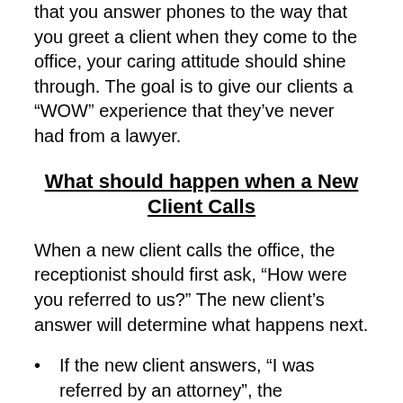that you answer phones to the way that you greet a client when they come to the office, your caring attitude should shine through. The goal is to give our clients a “WOW” experience that they’ve never had from a lawyer.
What should happen when a New Client Calls
When a new client calls the office, the receptionist should first ask, “How were you referred to us?” The new client’s answer will determine what happens next.
If the new client answers, “I was referred by an attorney”, the receptionist should transfer the call